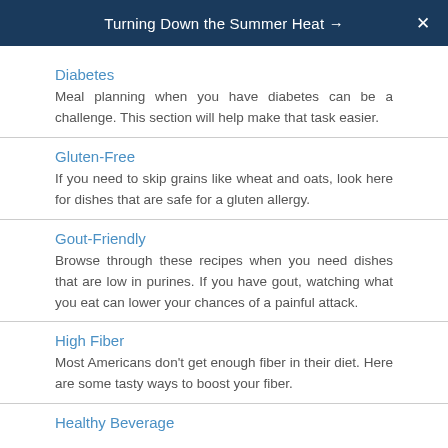Turning Down the Summer Heat →
Diabetes
Meal planning when you have diabetes can be a challenge. This section will help make that task easier.
Gluten-Free
If you need to skip grains like wheat and oats, look here for dishes that are safe for a gluten allergy.
Gout-Friendly
Browse through these recipes when you need dishes that are low in purines. If you have gout, watching what you eat can lower your chances of a painful attack.
High Fiber
Most Americans don't get enough fiber in their diet. Here are some tasty ways to boost your fiber.
Healthy Beverage